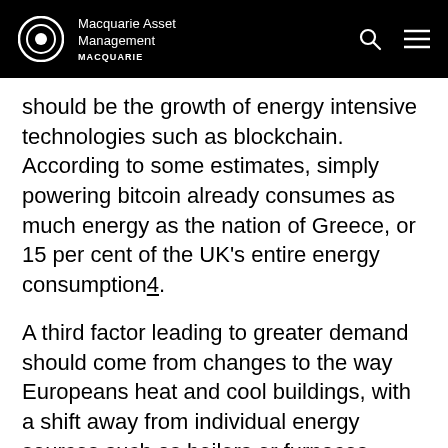Macquarie Asset Management
should be the growth of energy intensive technologies such as blockchain. According to some estimates, simply powering bitcoin already consumes as much energy as the nation of Greece, or 15 per cent of the UK's entire energy consumption4.
A third factor leading to greater demand should come from changes to the way Europeans heat and cool buildings, with a shift away from individual energy sources such as boilers or furnaces towards using energy from the grid.
...